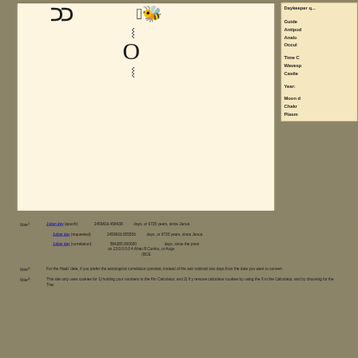[Figure (illustration): Mayan glyph box with decorative symbols including crescent and circular glyph shapes, and two ornate glyphs at top]
Daykeeper q...
Guide
Antipod
Analo
Occul
Time C
Wavesp
Castle
Year:
Moon d
Chakr
Plasm
Note¹: Julian day (epoch): 2459816.458438 days, or 6735 years, since Janua
Julian day (requested): 2459926.055556 days, or 6735 years, since Janua
Julian day (correlation): 584285.000000 days, since the previ on 13.0.0.0.0 4 Ahau 8 Cumku, or Augu (BCE
Note²: For the Haab' date, if you prefer the astrological correlation constant, instead of the astr subtract two days from the date you want to convert.
Note³: This site only uses cookies for 1) holding your numbers in the Kin Calculator, and 2) if y remove calculator cookies by using the X in the Calculator, and by choosing for the Trac